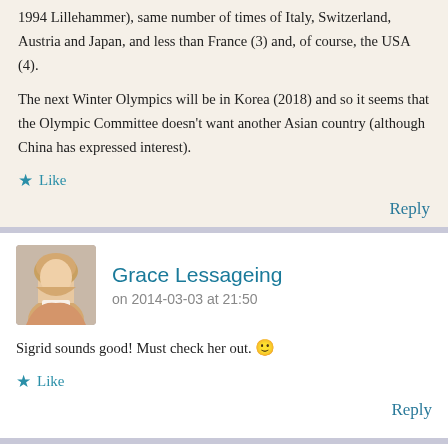1994 Lillehammer), same number of times of Italy, Switzerland, Austria and Japan, and less than France (3) and, of course, the USA (4).
The next Winter Olympics will be in Korea (2018) and so it seems that the Olympic Committee doesn't want another Asian country (although China has expressed interest).
Like
Reply
Grace Lessageing
on 2014-03-03 at 21:50
Sigrid sounds good! Must check her out. 🙂
Like
Reply
Carol Balawyder